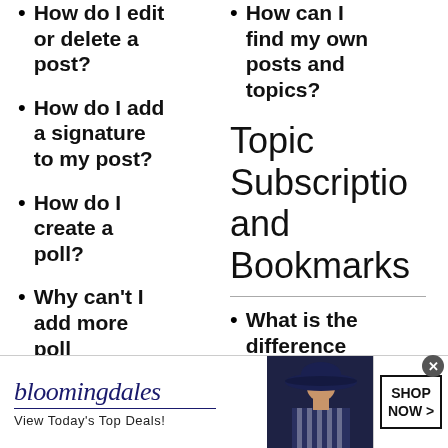How do I edit or delete a post?
How can I find my own posts and topics?
How do I add a signature to my post?
Topic Subscriptions and Bookmarks
How do I create a poll?
Why can't I add more poll options?
What is the difference between
[Figure (infographic): Bloomingdale's advertisement banner: logo, 'View Today's Top Deals!' tagline, fashion model with wide-brim hat, and 'SHOP NOW >' button]